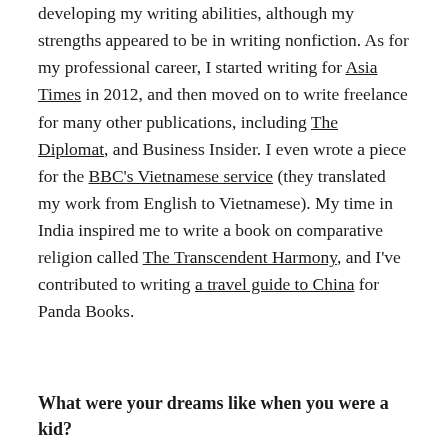developing my writing abilities, although my strengths appeared to be in writing nonfiction. As for my professional career, I started writing for Asia Times in 2012, and then moved on to write freelance for many other publications, including The Diplomat, and Business Insider. I even wrote a piece for the BBC's Vietnamese service (they translated my work from English to Vietnamese). My time in India inspired me to write a book on comparative religion called The Transcendent Harmony, and I've contributed to writing a travel guide to China for Panda Books.
What were your dreams like when you were a kid?